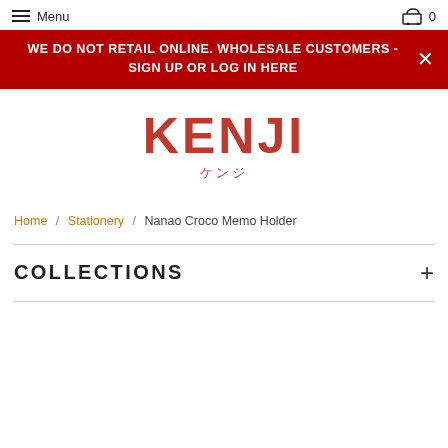Menu  0
WE DO NOT RETAIL ONLINE. WHOLESALE CUSTOMERS - SIGN UP OR LOG IN HERE
[Figure (logo): Kenji logo with Japanese text ケンジ in red]
Home / Stationery / Nanao Croco Memo Holder
COLLECTIONS